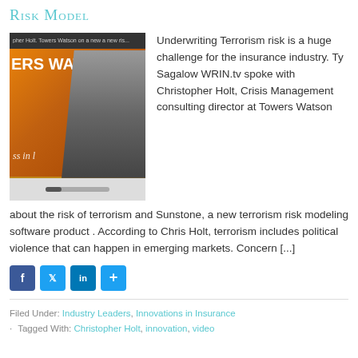Risk Model
[Figure (photo): Video thumbnail showing Christopher Holt from Towers Watson being interviewed, with orange Towers Watson branding in the background and a progress bar at the bottom.]
Underwriting Terrorism risk is a huge challenge for the insurance industry. Ty Sagalow WRIN.tv spoke with Christopher Holt, Crisis Management consulting director at Towers Watson about the risk of terrorism and Sunstone, a new terrorism risk modeling software product. According to Chris Holt, terrorism includes political violence that can happen in emerging markets. Concern [...]
Filed Under: Industry Leaders, Innovations in Insurance
· Tagged With: Christopher Holt, innovation, video